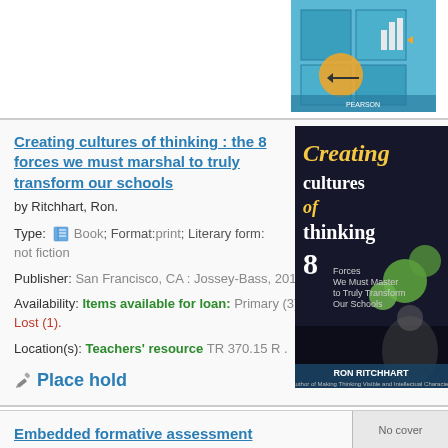[Figure (illustration): Partial book cover visible at top right — colorful puzzle/thinking themed illustration]
Creating cultures of thinking : the 8 forces we must marshal to truly transform our schools
by Ritchhart, Ron.
Type: Book; Format: print ; Literary form: not fiction
Publisher: San Francisco, CA : Jossey-Bass, 2015
Availability: Items available for loan: Primary (3). Lost (1).
Location(s): Teachers' resource TR 370.15 R .
Place hold
[Figure (illustration): No cover image available placeholder box]
[Figure (photo): Book cover: Creating cultures of thinking — small version with man and green spheres]
[Figure (photo): Book cover: Creating cultures of thinking — large version with Ron Ritchhart and green spheres on dark background]
Embedded formative assessment